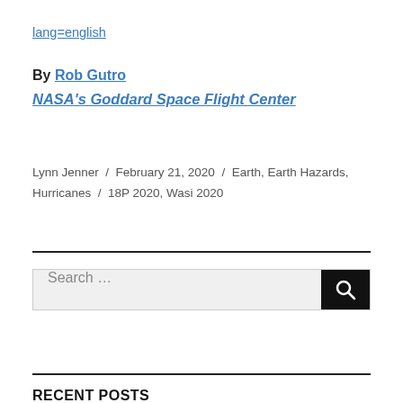lang=english
By Rob Gutro
NASA's Goddard Space Flight Center
Lynn Jenner / February 21, 2020 / Earth, Earth Hazards, Hurricanes / 18P 2020, Wasi 2020
[Figure (other): Horizontal rule separator line]
[Figure (other): Search box with search button and magnifying glass icon]
[Figure (other): Horizontal rule separator line]
RECENT POSTS